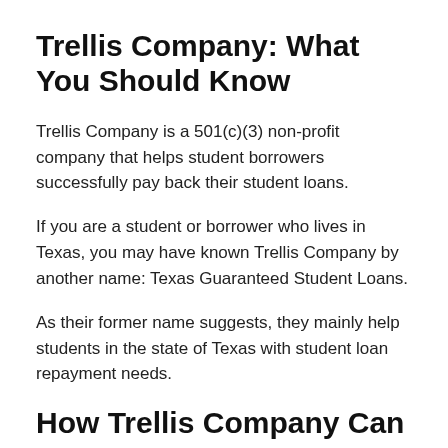Trellis Company: What You Should Know
Trellis Company is a 501(c)(3) non-profit company that helps student borrowers successfully pay back their student loans.
If you are a student or borrower who lives in Texas, you may have known Trellis Company by another name: Texas Guaranteed Student Loans.
As their former name suggests, they mainly help students in the state of Texas with student loan repayment needs.
How Trellis Company Can